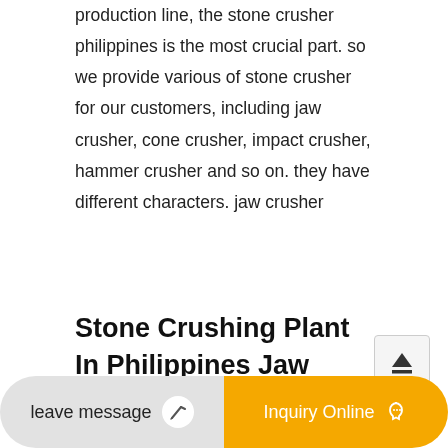production line, the stone crusher philippines is the most crucial part. so we provide various of stone crusher for our customers, including jaw crusher, cone crusher, impact crusher, hammer crusher and so on. they have different characters. jaw crusher
Stone Crushing Plant In Philippines Jaw Crusher
mobile stone crusher plant on hire in philippines. stone crushing plant stationary crusher plant is suitable for small to large projects with output of 30 to 500th with reasonable layout superior quality machines and optimum performance the crushing plant helps you achieve maximum in productivity and
leave message
Inquiry Online